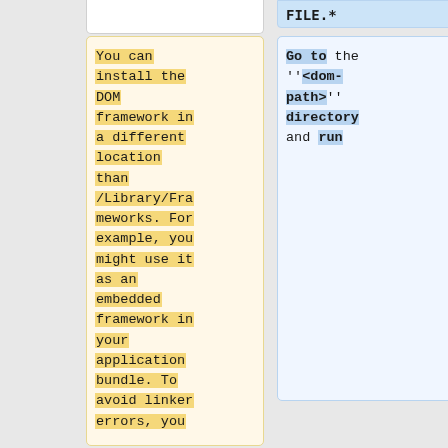You can install the DOM framework in a different location than /Library/Frameworks. For example, you might use it as an embedded framework in your application bundle. To avoid linker errors, you
Go to the ''<dom-path>'' directory and run